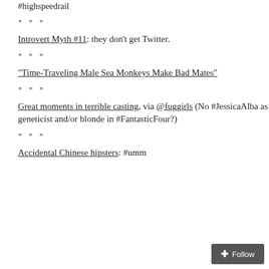#highspeedrail
* * *
Introvert Myth #11: they don't get Twitter.
* * *
"Time-Traveling Male Sea Monkeys Make Bad Mates"
* * *
Great moments in terrible casting, via @fuggirls (No #JessicaAlba as geneticist and/or blonde in #FantasticFour?)
* * *
Accidental Chinese hipsters: #umm